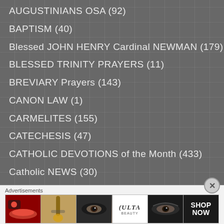AUGUSTINIANS OSA (92)
BAPTISM (40)
Blessed JOHN HENRY Cardinal NEWMAN (179)
BLESSED TRINITY PRAYERS (11)
BREVIARY Prayers (143)
CANON LAW (1)
CARMELITES (155)
CATECHESIS (47)
CATHOLIC DEVOTIONS of the Month (433)
Catholic NEWS (30)
CATHOLIC Quotes (94)
Advertisements
[Figure (photo): ULTA Beauty advertisement banner with makeup-themed images and SHOP NOW call to action]